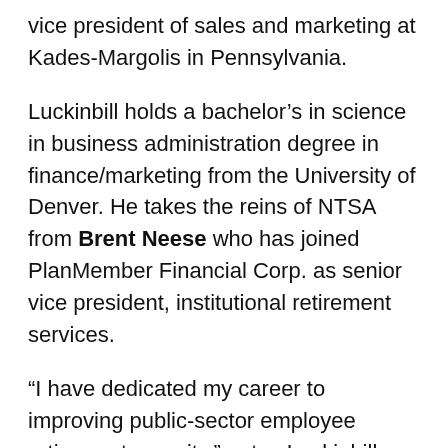vice president of sales and marketing at Kades-Margolis in Pennsylvania.
Luckinbill holds a bachelor’s in science in business administration degree in finance/marketing from the University of Denver. He takes the reins of NTSA from Brent Neese who has joined PlanMember Financial Corp. as senior vice president, institutional retirement services.
“I have dedicated my career to improving public-sector employee retirement security,” notes Luckinbill. “NTSA’s mission of advocacy and education is vitally important in helping Americans create sustainable lifetime income in retirement. I am proud to be associated with the